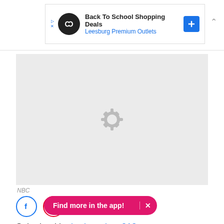[Figure (other): Advertisement banner: Back To School Shopping Deals - Leesburg Premium Outlets, with infinity logo icon and blue diamond arrow icon]
[Figure (photo): Image placeholder with loading spinner icon on grey background, attributed to NBC]
NBC
[Figure (other): Social share icons: Facebook (blue circle) and Pinterest (red circle)]
Submitted by brokenwings213
5. When y  ith Phoebe.
[Figure (other): Pink pill-shaped app promotion button: 'Find more in the app!' with X close button]